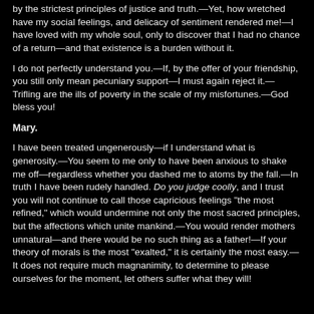by the strictest principles of justice and truth.—Yet, how wretched have my social feelings, and delicacy of sentiment rendered me!—I have loved with my whole soul, only to discover that I had no chance of a return—and that existence is a burden without it.
I do not perfectly understand you.—If, by the offer of your friendship, you still only mean pecuniary support—I must again reject it.—Trifling are the ills of poverty in the scale of my misfortunes.—God bless you!
Mary.
I have been treated ungenerously—if I understand what is generosity.—You seem to me only to have been anxious to shake me off—regardless whether you dashed me to atoms by the fall.—In truth I have been rudely handled. Do you judge coolly, and I trust you will not continue to call those capricious feelings "the most refined," which would undermine not only the most sacred principles, but the affections which unite mankind.—You would render mothers unnatural—and there would be no such thing as a father!—If your theory of morals is the most "exalted," it is certainly the most easy.—It does not require much magnanimity, to determine to please ourselves for the moment, let others suffer what they will!